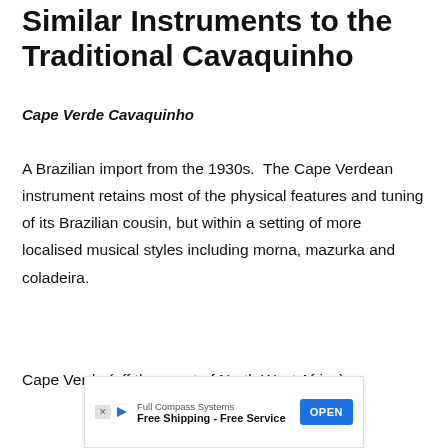Similar Instruments to the Traditional Cavaquinho
Cape Verde Cavaquinho
A Brazilian import from the 1930s.  The Cape Verdean instrument retains most of the physical features and tuning of its Brazilian cousin, but within a setting of more localised musical styles including morna, mazurka and coladeira.
Cape Verde (off the coast of North West Africa)
[Figure (other): Advertisement banner: Full Compass Systems - Free Shipping - Free Service, with an OPEN button]